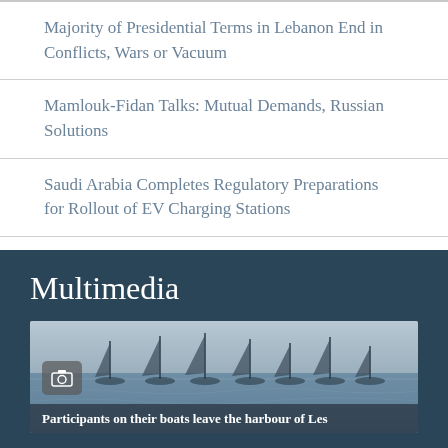Majority of Presidential Terms in Lebanon End in Conflicts, Wars or Vacuum
Mamlouk-Fidan Talks: Mutual Demands, Russian Solutions
Saudi Arabia Completes Regulatory Preparations for Rollout of EV Charging Stations
Multimedia
[Figure (photo): Participants on their boats leave the harbour of Les — sailing boats on water with masts visible against grey sky]
Participants on their boats leave the harbour of Les